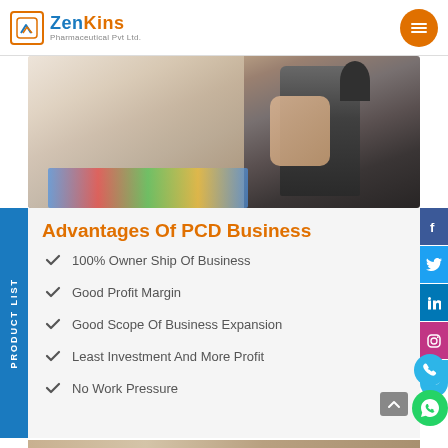ZenKins Pharmaceutical Pvt Ltd.
[Figure (photo): Close-up of a person in a white coat using a microscope or lab instrument, with colorful papers/documents on a dark table surface.]
Advantages Of PCD Business
100% Owner Ship Of Business
Good Profit Margin
Good Scope Of Business Expansion
Least Investment And More Profit
No Work Pressure
[Figure (photo): Partial view of another photo at the bottom of the page, showing people in what appears to be a medical/clinical setting.]